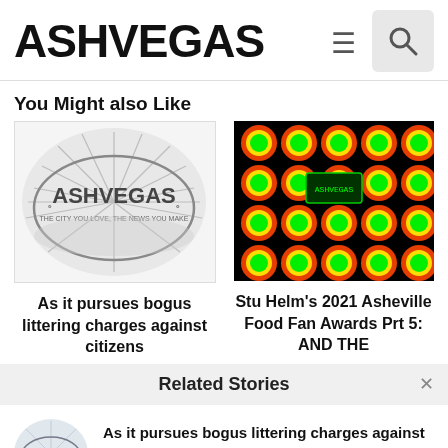ASHVEGAS
You Might also Like
[Figure (logo): Ashvegas logo illustration with sun rays and tagline 'The city you love, the news you make']
[Figure (photo): Photo of colorful neon green and pink circular discs on a black background]
As it pursues bogus littering charges against citizens
Stu Helm's 2021 Asheville Food Fan Awards Prt 5: AND THE
Related Stories
[Figure (logo): Small Ashvegas logo thumbnail]
As it pursues bogus littering charges against citizens, Asheville trashes ideal of compassionate city